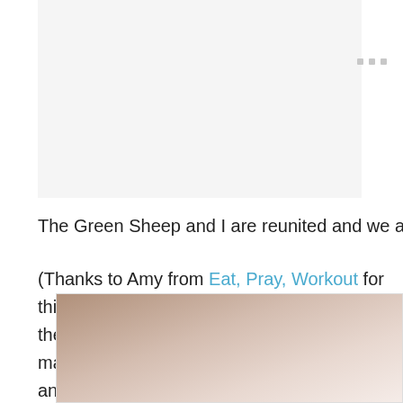[Figure (other): Advertisement placeholder area, light gray background]
The Green Sheep and I are reunited and we are both ve
(Thanks to Amy from Eat, Pray, Workout for this pic and their car ran over The Green Sheep, for making the drive and rescue The Green Sheep. They were the winners o am glad they came.)
[Figure (photo): Partial photo showing what appears to be a dark furry animal against a light background, cropped at page edge]